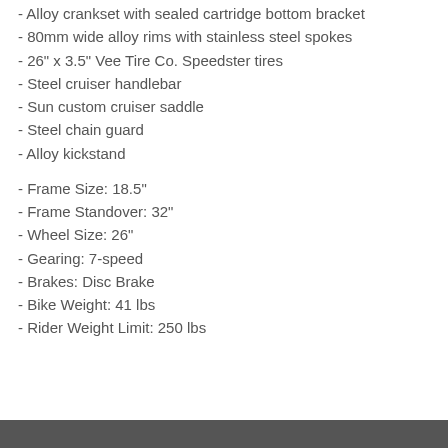- Alloy crankset with sealed cartridge bottom bracket
- 80mm wide alloy rims with stainless steel spokes
- 26" x 3.5" Vee Tire Co. Speedster tires
- Steel cruiser handlebar
- Sun custom cruiser saddle
- Steel chain guard
- Alloy kickstand
- Frame Size: 18.5"
- Frame Standover: 32"
- Wheel Size: 26"
- Gearing: 7-speed
- Brakes: Disc Brake
- Bike Weight: 41 lbs
- Rider Weight Limit: 250 lbs